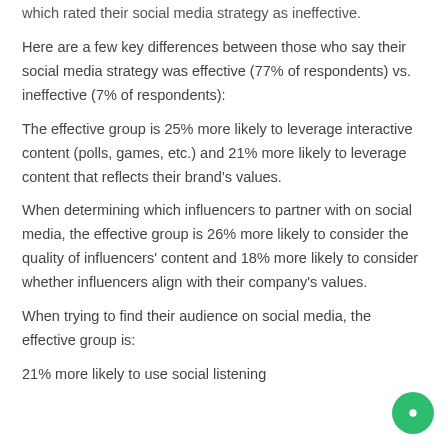which rated their social media strategy as ineffective.
Here are a few key differences between those who say their social media strategy was effective (77% of respondents) vs. ineffective (7% of respondents):
The effective group is 25% more likely to leverage interactive content (polls, games, etc.) and 21% more likely to leverage content that reflects their brand’s values.
When determining which influencers to partner with on social media, the effective group is 26% more likely to consider the quality of influencers’ content and 18% more likely to consider whether influencers align with their company’s values.
When trying to find their audience on social media, the effective group is:
21% more likely to use social listening